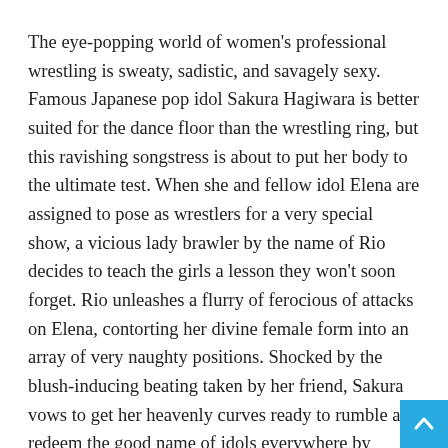The eye-popping world of women's professional wrestling is sweaty, sadistic, and savagely sexy. Famous Japanese pop idol Sakura Hagiwara is better suited for the dance floor than the wrestling ring, but this ravishing songstress is about to put her body to the ultimate test. When she and fellow idol Elena are assigned to pose as wrestlers for a very special show, a vicious lady brawler by the name of Rio decides to teach the girls a lesson they won't soon forget. Rio unleashes a flurry of ferocious of attacks on Elena, contorting her divine female form into an array of very naughty positions. Shocked by the blush-inducing beating taken by her friend, Sakura vows to get her heavenly curves ready to rumble and redeem the good name of idols everywhere by becoming a bona fide diva of the pro-wrestling world!